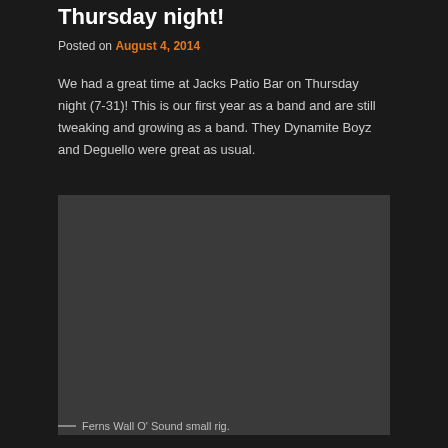Thursday night!
Posted on August 4, 2014
We had a great time at Jacks Patio Bar on Thursday night (7-31)! This is our first year as a band and are still tweaking and growing as a band. They Dynamite Boyz and Deguello were great as usual.
[Figure (photo): Dark photograph, contents not fully visible — appears to be equipment or stage setup]
Ferns Wall O' Sound small rig.